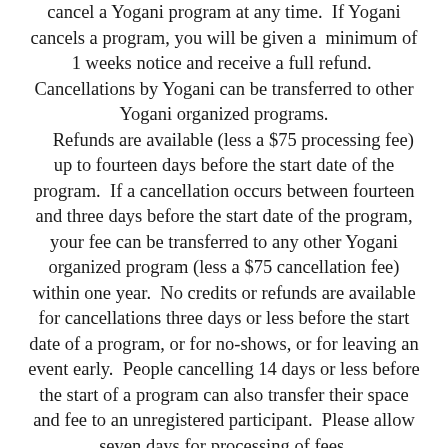cancel a Yogani program at any time.  If Yogani cancels a program, you will be given a  minimum of 1 weeks notice and receive a full refund.  Cancellations by Yogani can be transferred to other Yogani organized programs. Refunds are available (less a $75 processing fee) up to fourteen days before the start date of the program.  If a cancellation occurs between fourteen and three days before the start date of the program, your fee can be transferred to any other Yogani organized program (less a $75 cancellation fee) within one year.  No credits or refunds are available for cancellations three days or less before the start date of a program, or for no-shows, or for leaving an event early.  People cancelling 14 days or less before the start of a program can also transfer their space and fee to an unregistered participant.  Please allow seven days for processing of fees.